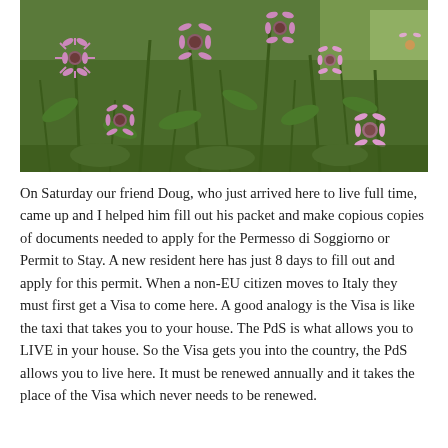[Figure (photo): Photograph of purple coneflowers (Echinacea) with green foliage in a garden setting, taken outdoors in daylight.]
On Saturday our friend Doug, who just arrived here to live full time, came up and I helped him fill out his packet and make copious copies of documents needed to apply for the Permesso di Soggiorno or Permit to Stay. A new resident here has just 8 days to fill out and apply for this permit. When a non-EU citizen moves to Italy they must first get a Visa to come here. A good analogy is the Visa is like the taxi that takes you to your house. The PdS is what allows you to LIVE in your house. So the Visa gets you into the country, the PdS allows you to live here. It must be renewed annually and it takes the place of the Visa which never needs to be renewed.